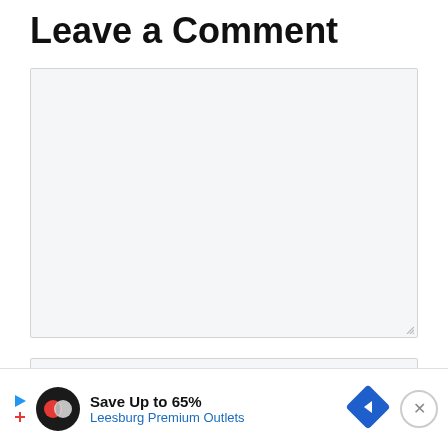Leave a Comment
[Figure (screenshot): Empty comment textarea input field with light gray background and resize handle in bottom-right corner]
[Figure (screenshot): Name input field with placeholder text 'Name *' in light gray]
[Figure (screenshot): Email input field partially visible with placeholder text 'Er...' in light gray, overlaid by advertisement banner]
[Figure (screenshot): Advertisement banner: Save Up to 65% Leesburg Premium Outlets, with Mastercard-like logo, blue navigation arrow icon, and close button]